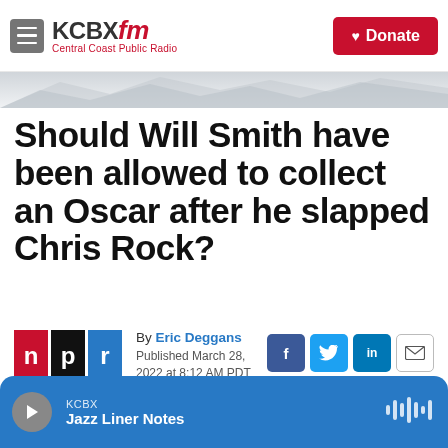KCBX FM Central Coast Public Radio | Donate
Should Will Smith have been allowed to collect an Oscar after he slapped Chris Rock?
By Eric Deggans
Published March 28, 2022 at 8:12 AM PDT
[Figure (logo): NPR logo with red, black, and blue squares]
[Figure (infographic): Social share buttons: Facebook, Twitter, LinkedIn, Email]
KCBX Jazz Liner Notes